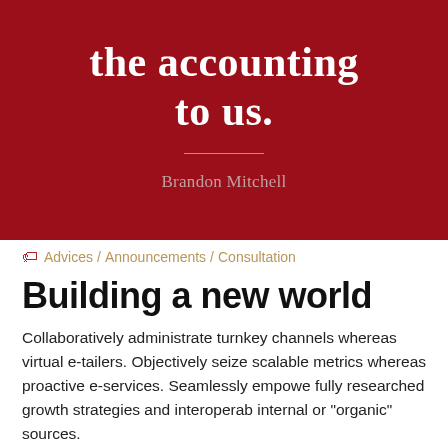the accounting to us.
Brandon Mitchell
Advices / Announcements / Consultation
Building a new world
Collaboratively administrate turnkey channels whereas virtual e-tailers. Objectively seize scalable metrics whereas proactive e-services. Seamlessly empowe fully researched growth strategies and interoperab internal or "organic" sources.